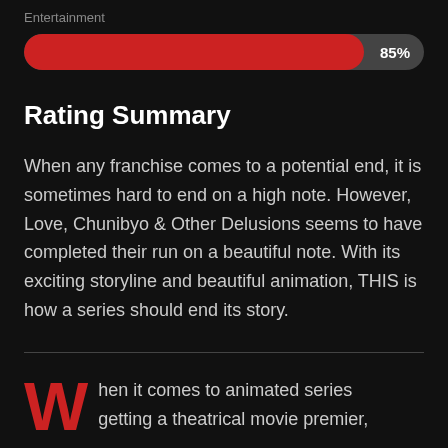Entertainment
[Figure (other): Progress bar showing 85% completion, red fill on dark gray background, labeled 'Entertainment']
Rating Summary
When any franchise comes to a potential end, it is sometimes hard to end on a high note. However, Love, Chunibyo & Other Delusions seems to have completed their run on a beautiful note. With its exciting storyline and beautiful animation, THIS is how a series should end its story.
When it comes to animated series getting a theatrical movie premier,